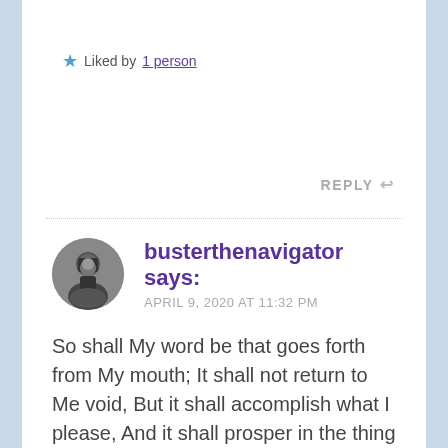★ Liked by 1 person
REPLY ↩
busterthenavigator says:
APRIL 9, 2020 AT 11:32 PM
So shall My word be that goes forth from My mouth; It shall not return to Me void, But it shall accomplish what I please, And it shall prosper in the thing for which I sent it.
Isaiah 55:11
Thank you for the reminder to share Jesus in all ways He presents. In this time, it is only His hope that sustains. It is time to tell everyone of this